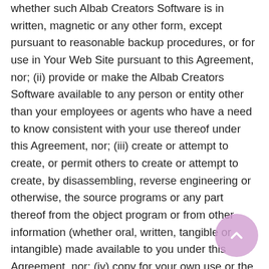whether such Albab Creators Software is in written, magnetic or any other form, except pursuant to reasonable backup procedures, or for use in Your Web Site pursuant to this Agreement, nor; (ii) provide or make the Albab Creators Software available to any person or entity other than your employees or agents who have a need to know consistent with your use thereof under this Agreement, nor; (iii) create or attempt to create, or permit others to create or attempt to create, by disassembling, reverse engineering or otherwise, the source programs or any part thereof from the object program or from other information (whether oral, written, tangible or intangible) made available to you under this Agreement, nor; (iv) copy for your own use or the use of others operator manuals, system reference guides, training materials and other user-